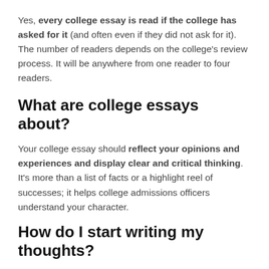Yes, every college essay is read if the college has asked for it (and often even if they did not ask for it). The number of readers depends on the college's review process. It will be anywhere from one reader to four readers.
What are college essays about?
Your college essay should reflect your opinions and experiences and display clear and critical thinking. It's more than a list of facts or a highlight reel of successes; it helps college admissions officers understand your character.
How do I start writing my thoughts?
Try these tips to help you get started with journaling: